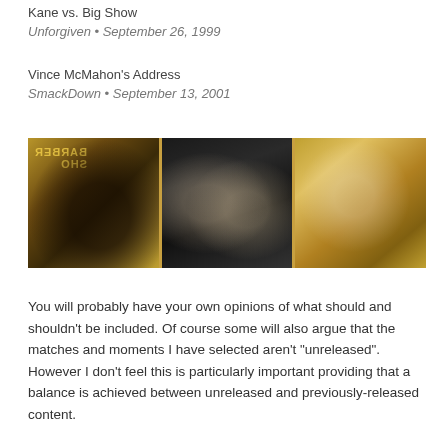Kane vs. Big Show
Unforgiven • September 26, 1999
Vince McMahon's Address
SmackDown • September 13, 2001
[Figure (photo): Three-panel photo strip: left panel shows a wrestler being slammed near a 'Barber Shop' sign (sepia/gold toned), middle panel shows two wrestlers face-to-face in a ring (black and white), right panel shows a man in a white shirt speaking/yelling (gold toned).]
You will probably have your own opinions of what should and shouldn't be included. Of course some will also argue that the matches and moments I have selected aren’t “unreleased”. However I don't feel this is particularly important providing that a balance is achieved between unreleased and previously-released content.